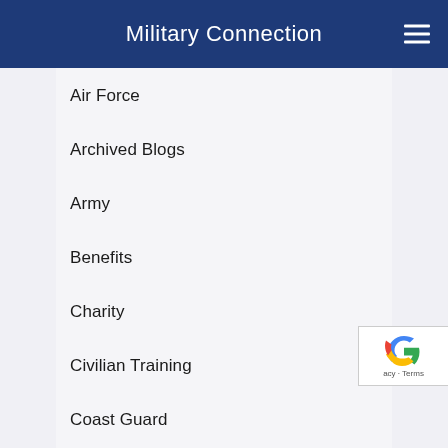Military Connection
Air Force
Archived Blogs
Army
Benefits
Charity
Civilian Training
Coast Guard
Community News
Deals & Discounts
Deployment & Reintegration